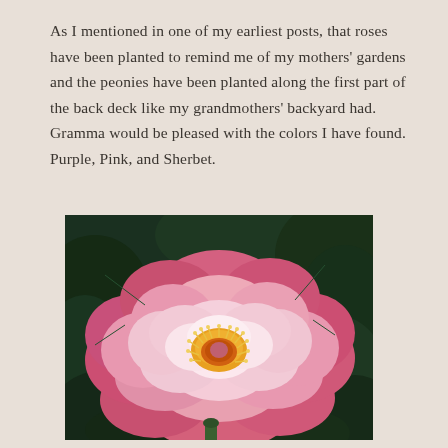As I mentioned in one of my earliest posts, that roses have been planted to remind me of my mothers' gardens and the peonies have been planted along the first part of the back deck like my grandmothers' backyard had.  Gramma would be pleased with the colors I have found.  Purple, Pink, and Sherbet.
[Figure (photo): Close-up photograph of a large pink and white peony flower with yellow stamens in the center, surrounded by dark green leaves against a dark background.]